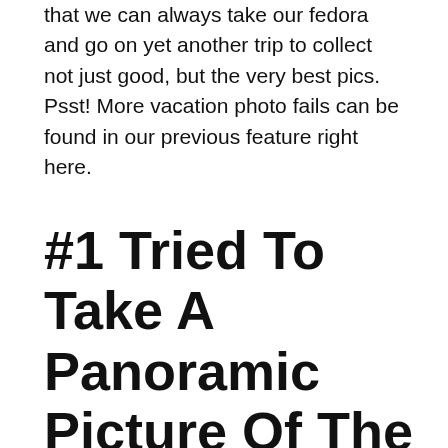that we can always take our fedora and go on yet another trip to collect not just good, but the very best pics. Psst! More vacation photo fails can be found in our previous feature right here.
#1 Tried To Take A Panoramic Picture Of The Eiffel Tower Today, It Went Surprisingly Well